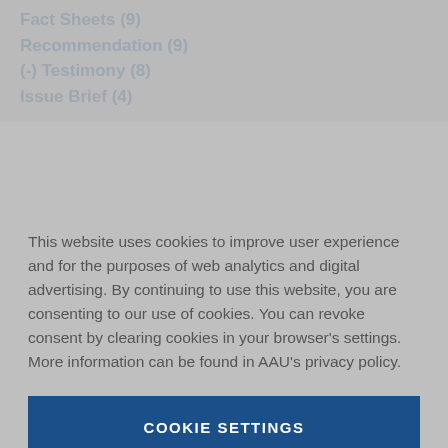Fact Sheets (9)
Recommendation (9)
(-) Testimony (8)
Issue Brief (4)
This website uses cookies to improve user experience and for the purposes of web analytics and digital advertising. By continuing to use this website, you are consenting to our use of cookies. You can revoke consent by clearing cookies in your browser’s settings. More information can be found in AAU’s privacy policy.
COOKIE SETTINGS
ACCEPT ALL